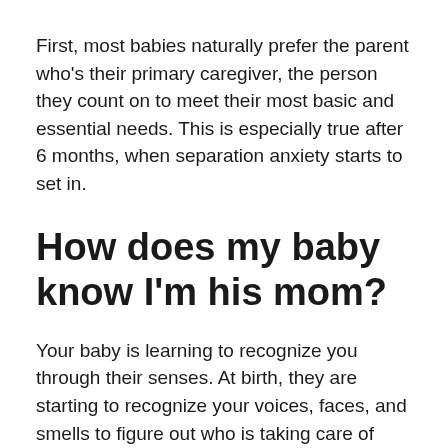First, most babies naturally prefer the parent who's their primary caregiver, the person they count on to meet their most basic and essential needs. This is especially true after 6 months, when separation anxiety starts to set in.
How does my baby know I'm his mom?
Your baby is learning to recognize you through their senses. At birth, they are starting to recognize your voices, faces, and smells to figure out who is taking care of them. Since the maternal voice is audible in utero, an infant starts to recognize their mother's voice from the third trimester